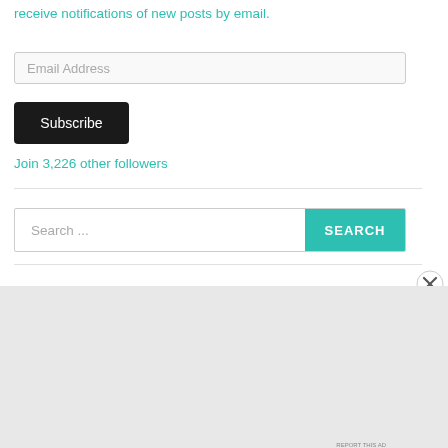receive notifications of new posts by email.
Email Address
Subscribe
Join 3,226 other followers
Search ...
SEARCH
Advertisements
[Figure (other): DuckDuckGo advertisement banner with orange/red background showing a smartphone and text: Search, browse, and email with more privacy. All in One Free App. DuckDuckGo.]